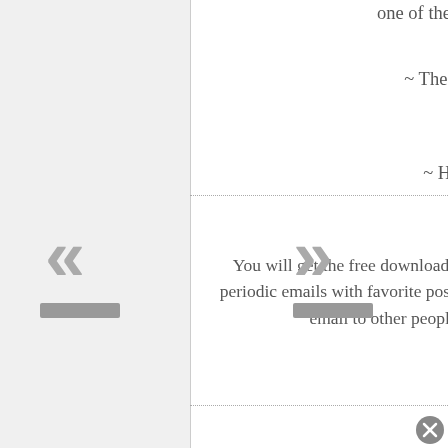one of the best ingredients for parenting
~ The best agriculture design for total health
~ How to respect your food
...and so much more.
You will get the free download and be subscribed to my email list which will include periodic emails with favorite posts, tips and tricks, and special offers. We never sell your email to other people and you are free to unsubscribe any time.
First Name